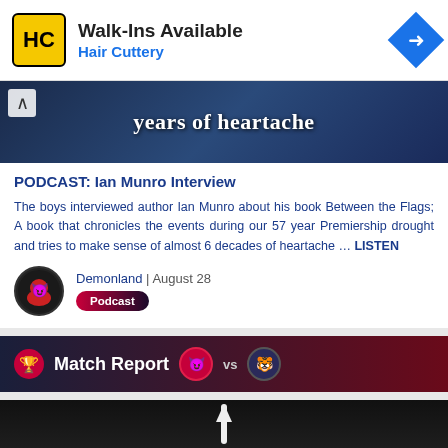[Figure (infographic): Hair Cuttery advertisement banner with yellow HC logo, 'Walk-Ins Available' heading, 'Hair Cuttery' subtitle in blue, and a blue diamond directional arrow icon on the right]
[Figure (photo): Dark blue-toned hero image with text 'years of heartache' overlaid in white bold text, with a chevron/up arrow button]
PODCAST: Ian Munro Interview
The boys interviewed author Ian Munro about his book Between the Flags; A book that chronicles the events during our 57 year Premiership drought and tries to make sense of almost 6 decades of heartache … LISTEN
Demonland | August 28
Podcast
[Figure (infographic): Match Report banner with dark navy-to-red gradient background, trophy icon, 'Match Report' title, team icons with 'vs' between them]
[Figure (photo): Bottom portion of a dark image showing a finger pointing upward]